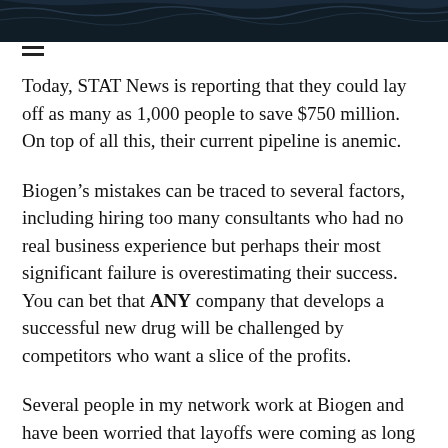[Figure (photo): Dark image banner at top of page, appears to show barbed wire or dark foliage against a dark background]
Today, STAT News is reporting that they could lay off as many as 1,000 people to save $750 million. On top of all this, their current pipeline is anemic.
Biogen’s mistakes can be traced to several factors, including hiring too many consultants who had no real business experience but perhaps their most significant failure is overestimating their success. You can bet that ANY company that develops a successful new drug will be challenged by competitors who want a slice of the profits.
Several people in my network work at Biogen and have been worried that layoffs were coming as long as six months ago. Internally people worried that Aduhelm’s data was weak and wouldn’t be successful. They understood the WHY of launching the drug but